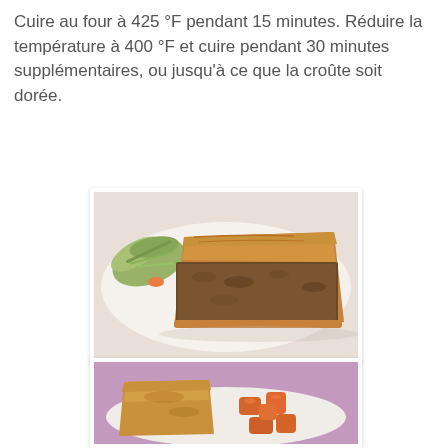Cuire au four à 425 °F pendant 15 minutes. Réduire la température à 400 °F et cuire pendant 30 minutes supplémentaires, ou jusqu'à ce que la croûte soit dorée.
[Figure (photo): A slice of meat pie with golden pastry crust and a filling of ground meat, served on a white plate with a side salad of shredded green vegetables and a piece of carrot.]
[Figure (photo): A slice of meat pie with golden-brown pastry crust served on a white plate with chunks of roasted orange sweet potato on the side, with a purple patterned tablecloth visible in the background.]